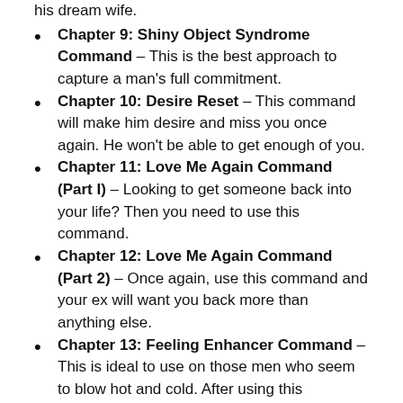Chapter 9: Shiny Object Syndrome Command – This is the best approach to capture a man's full commitment.
Chapter 10: Desire Reset – This command will make him desire and miss you once again. He won't be able to get enough of you.
Chapter 11: Love Me Again Command (Part I) – Looking to get someone back into your life? Then you need to use this command.
Chapter 12: Love Me Again Command (Part 2) – Once again, use this command and your ex will want you back more than anything else.
Chapter 13: Feeling Enhancer Command – This is ideal to use on those men who seem to blow hot and cold. After using this